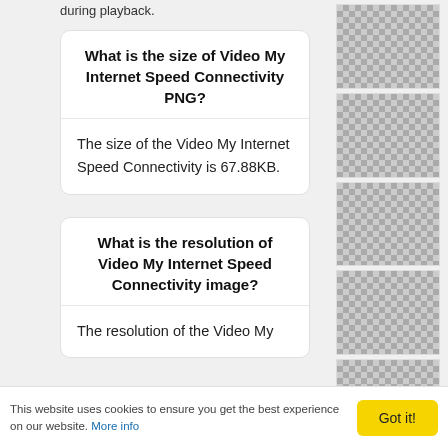during playback.
What is the size of Video My Internet Speed Connectivity PNG?
The size of the Video My Internet Speed Connectivity is 67.88KB.
What is the resolution of Video My Internet Speed Connectivity image?
The resolution of the Video My
[Figure (illustration): Checkerboard transparency placeholder image 1]
[Figure (illustration): Checkerboard transparency placeholder image 2]
[Figure (illustration): Checkerboard transparency placeholder image 3]
[Figure (illustration): Checkerboard transparency placeholder image 4]
[Figure (illustration): Checkerboard transparency placeholder image 5 with black semicircle]
This website uses cookies to ensure you get the best experience on our website. More info
Got it!